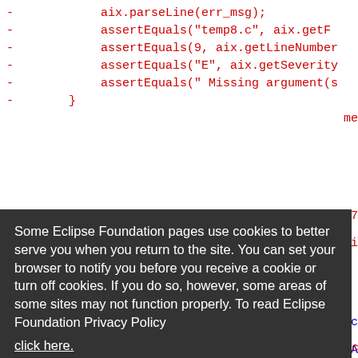[Figure (screenshot): Source code snippet with red-colored diff lines showing aix.parseLine and assertEquals calls, followed by blue-colored code fragments visible behind a cookie consent overlay.]
Some Eclipse Foundation pages use cookies to better serve you when you return to the site. You can set your browser to notify you before you receive a cookie or turn off cookies. If you do so, however, some areas of some sites may not function properly. To read Eclipse Foundation Privacy Policy click here.
Decline | Allow cookies